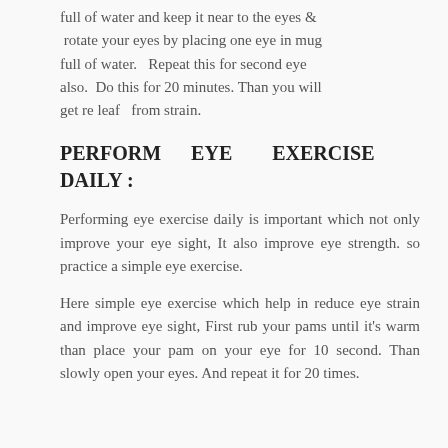full of water and keep it near to the eyes & rotate your eyes by placing one eye in mug full of water. Repeat this for second eye also. Do this for 20 minutes. Than you will get re leaf from strain.
PERFORM EYE EXERCISE DAILY :
Performing eye exercise daily is important which not only improve your eye sight, It also improve eye strength. so practice a simple eye exercise.
Here simple eye exercise which help in reduce eye strain and improve eye sight, First rub your pams until it's warm than place your pam on your eye for 10 second. Than slowly open your eyes. And repeat it for 20 times.